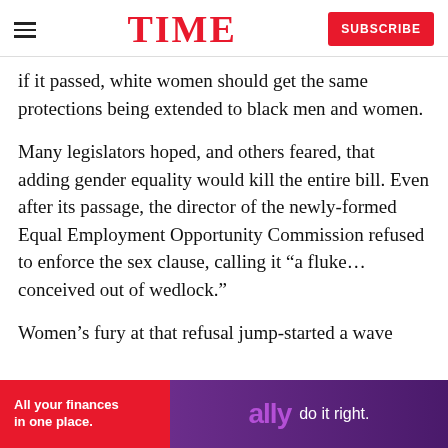TIME | SUBSCRIBE
if it passed, white women should get the same protections being extended to black men and women.
Many legislators hoped, and others feared, that adding gender equality would kill the entire bill. Even after its passage, the director of the newly-formed Equal Employment Opportunity Commission refused to enforce the sex clause, calling it “a fluke…conceived out of wedlock.”
Women’s fury at that refusal jump-started a wave
[Figure (other): Advertisement banner for Ally Bank: 'All your finances in one place.' with Ally do it right. logo on purple/red background]